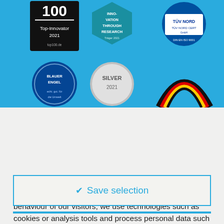[Figure (illustration): Blue banner background with certification/award badges: top row shows '100 Top-Innovator 2021' badge, 'Innovation Through Research' hexagonal badge, TÜV Nord certification badge; bottom row shows 'Blauer Engel' circular badge, 'Silver 2021' medallion, and a German flag arc design badge.]
In order to provide you with an optimal website service and to optimise our content based on the surfing behaviour of our visitors, we use technologies such as cookies or analysis tools and process personal data such as IP addresses and browser information. Data
✔ Save selection
🔧 Settings
✔ Accept all